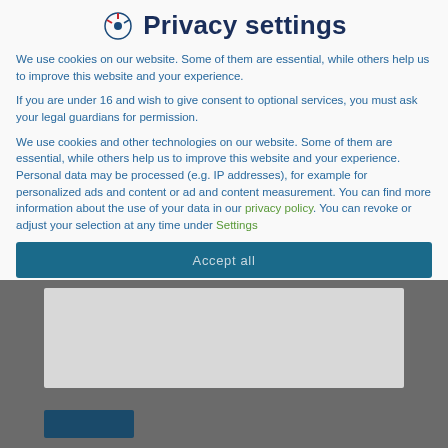Privacy settings
We use cookies on our website. Some of them are essential, while others help us to improve this website and your experience.
If you are under 16 and wish to give consent to optional services, you must ask your legal guardians for permission.
We use cookies and other technologies on our website. Some of them are essential, while others help us to improve this website and your experience. Personal data may be processed (e.g. IP addresses), for example for personalized ads and content or ad and content measurement. You can find more information about the use of your data in our privacy policy. You can revoke or adjust your selection at any time under Settings
Essential
Statistics
External Media